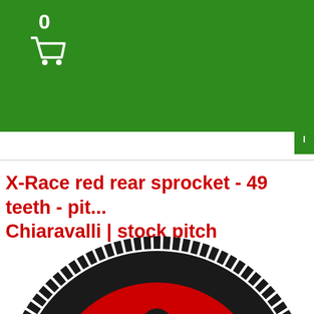0
X-Race red rear sprocket - 49 teeth - pit... Chiaravalli | stock pitch
[Figure (photo): Close-up photo of a red and black X-Race rear sprocket with 49 teeth, showing the red aluminum spider and black outer ring with teeth, with silver bolts visible]